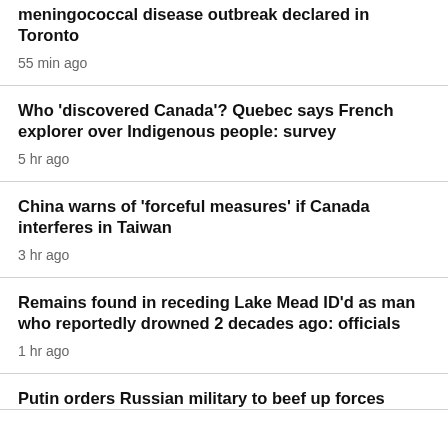meningococcal disease outbreak declared in Toronto
55 min ago
Who 'discovered Canada'? Quebec says French explorer over Indigenous people: survey
5 hr ago
China warns of 'forceful measures' if Canada interferes in Taiwan
3 hr ago
Remains found in receding Lake Mead ID'd as man who reportedly drowned 2 decades ago: officials
1 hr ago
Putin orders Russian military to beef up forces